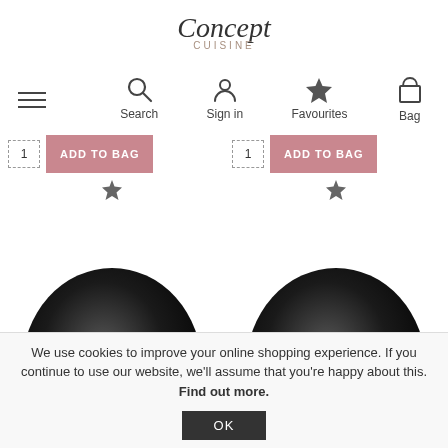Concept Cuisine
[Figure (screenshot): Navigation bar with hamburger menu, Search, Sign in, Favourites (star icon filled), and Bag icons]
[Figure (screenshot): Two Add to Bag sections each with quantity field showing 1 and pink ADD TO BAG button]
[Figure (photo): Two dark/black round cookware product images partially visible at bottom]
We use cookies to improve your online shopping experience. If you continue to use our website, we'll assume that you're happy about this. Find out more.
OK